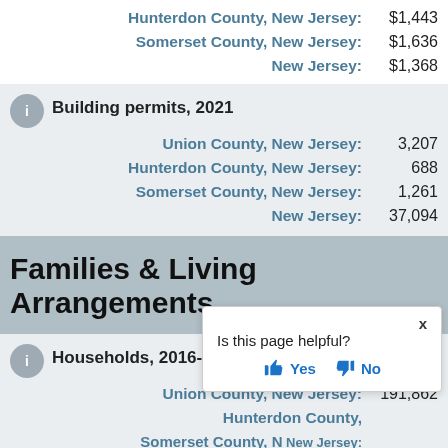Hunterdon County, New Jersey: $1,443
Somerset County, New Jersey: $1,636
New Jersey: $1,368
Building permits, 2021
Union County, New Jersey: 3,207
Hunterdon County, New Jersey: 688
Somerset County, New Jersey: 1,261
New Jersey: 37,094
Families & Living Arrangements
Households, 2016-2020
Union County, New Jersey: 191,862
Hunterdon County, New Jersey: (truncated)
Somerset County, New Jersey: (truncated)